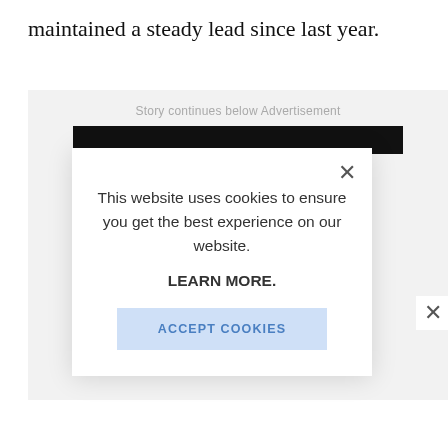maintained a steady lead since last year.
Story continues below Advertisement
[Figure (screenshot): Cookie consent modal dialog on a news website. Contains text: 'This website uses cookies to ensure you get the best experience on our website. LEARN MORE.' and an 'ACCEPT COOKIES' button. Background shows advertisement area with black bar.]